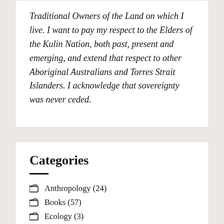Traditional Owners of the Land on which I live. I want to pay my respect to the Elders of the Kulin Nation, both past, present and emerging, and extend that respect to other Aboriginal Australians and Torres Strait Islanders. I acknowledge that sovereignty was never ceded.
Categories
Anthropology (24)
Books (57)
Ecology (3)
Family, Friends & Foe (89)
Feminism (7)